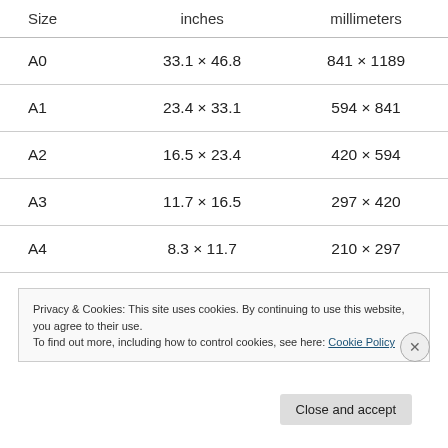| Size | inches | millimeters |
| --- | --- | --- |
| A0 | 33.1 × 46.8 | 841 × 1189 |
| A1 | 23.4 × 33.1 | 594 × 841 |
| A2 | 16.5 × 23.4 | 420 × 594 |
| A3 | 11.7 × 16.5 | 297 × 420 |
| A4 | 8.3 × 11.7 | 210 × 297 |
Privacy & Cookies: This site uses cookies. By continuing to use this website, you agree to their use.
To find out more, including how to control cookies, see here: Cookie Policy